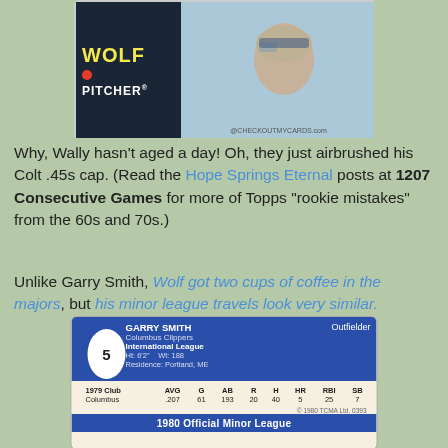[Figure (photo): Top portion of a vintage baseball card showing 'WOLF' in yellow text on dark background, 'PITCHER' label, and player photo on light blue background with CHECKOUTMYCARDS.com watermark]
Why, Wally hasn't aged a day! Oh, they just airbrushed his Colt .45s cap. (Read the Hope Springs Eternal posts at 1207 Consecutive Games for more of Topps "rookie mistakes" from the 60s and 70s.)
Unlike Garry Smith, Wolf got two cups of coffee in the majors, but his minor league travels look very similar.
[Figure (photo): Back of a 1980 Official Minor League baseball card for Garry Smith, Outfielder, Columbus Clippers, International League. Ht: 6'2'' Wt: 188, Residence: Portland, ME. 1979 Club Columbus stats: AVG .207, G 61, AB 193, R 20, H 40, HR 5, RBI 25, SB 7. © 1980 TCMA Ltd. 0393. Bottom banner: 1980 Official Minor League]